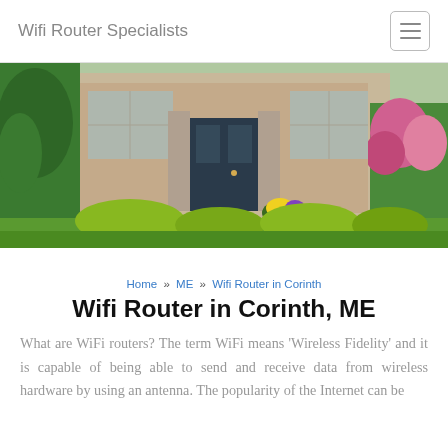Wifi Router Specialists
[Figure (photo): Front exterior of a residential home with a dark front door, stone pillars, green shrubs, yellow and pink flowers, and a well-manicured lawn]
Home » ME » Wifi Router in Corinth
Wifi Router in Corinth, ME
What are WiFi routers? The term WiFi means 'Wireless Fidelity' and it is capable of being able to send and receive data from wireless hardware by using an antenna. The popularity of the Internet can be